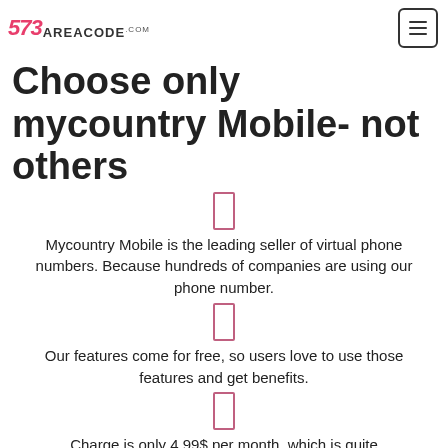573areacode.com
Choose only mycountry Mobile- not others
Mycountry Mobile is the leading seller of virtual phone numbers. Because hundreds of companies are using our phone number.
Our features come for free, so users love to use those features and get benefits.
Charge is only 4.99$ per month, which is quite